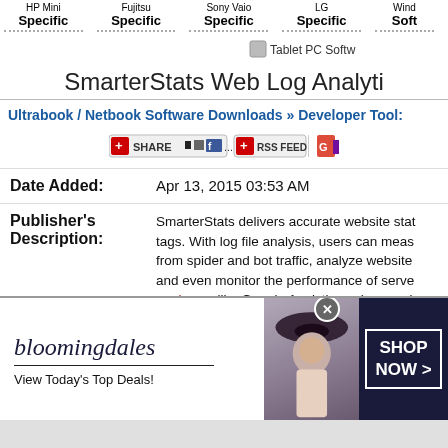HP Mini Specific / Fujitsu Specific / Sony Vaio Specific / LG Specific / Windows Software
[Figure (screenshot): Tablet PC Software navigation image placeholder]
SmarterStats Web Log Analytics
Ultrabook / Netbook Software Downloads » Developer Tools
[Figure (screenshot): Share button and RSS Feed button bar]
| Date Added: | Apr 13, 2015 03:53 AM |
| Publisher's Description: | SmarterStats delivers accurate website stats without tags. With log file analysis, users can measure traffic from spider and bot traffic, analyze website ... and even monitor the performance of serve... analyzers like Google Analytics only record ... JavaScript tracking code. That means ... |
[Figure (photo): Bloomingdales advertisement banner showing a woman in a wide-brim hat with text: bloomingdales, View Today's Top Deals!, SHOP NOW >]